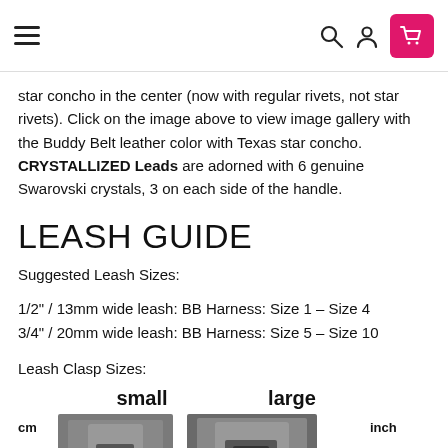Navigation bar with hamburger menu, search, user, and cart icons
star concho in the center (now with regular rivets, not star rivets). Click on the image above to view image gallery with the Buddy Belt leather color with Texas star concho. CRYSTALLIZED Leads are adorned with 6 genuine Swarovski crystals, 3 on each side of the handle.
LEASH GUIDE
Suggested Leash Sizes:
1/2" / 13mm wide leash: BB Harness: Size 1 – Size 4
3/4" / 20mm wide leash: BB Harness: Size 5 – Size 10
Leash Clasp Sizes:
[Figure (photo): Leash clasp size comparison showing small and large clasps with cm and inch scale reference. Small clasp on left, large clasp on right. Scale shows 0 at bottom for both cm and inch.]